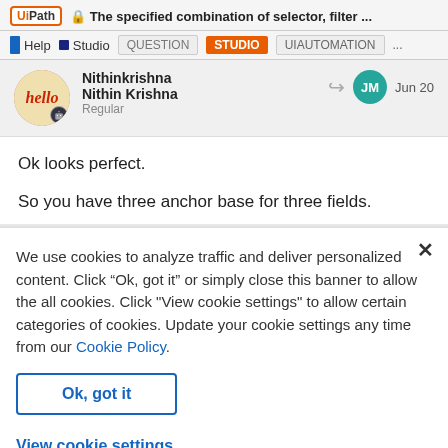The specified combination of selector, filter ...
Help  Studio  QUESTION  STUDIO  UIAUTOMATION  ...
Nithinkrishna
Nithin Krishna
Regular
Jun 20
Ok looks perfect.

So you have three anchor base for three fields.
We use cookies to analyze traffic and deliver personalized content. Click “Ok, got it” or simply close this banner to allow the all cookies. Click "View cookie settings" to allow certain categories of cookies. Update your cookie settings any time from our Cookie Policy.
Ok, got it
View cookie settings